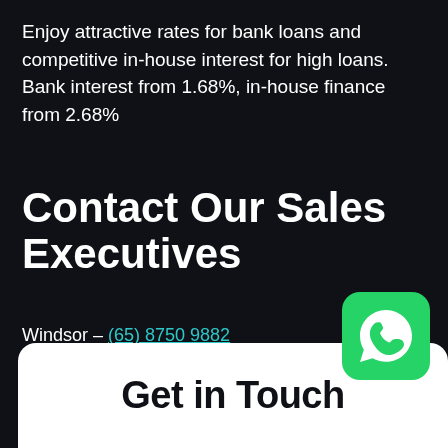Enjoy attractive rates for bank loans and competitive in-house interest for high loans. Bank interest from 1.68%, in-house finance from 2.68%
Contact Our Sales Executives
Windsor – (65) 8750 9882
Alex – (65) 87868433
Get in Touch
[Figure (logo): WhatsApp icon — green rounded square with white phone handset inside speech bubble]